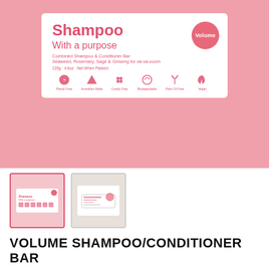[Figure (photo): Main product photo: shampoo/conditioner bar box on pink background. White box with pink text reading 'Shampoo With a purpose, Combined Shampoo & Conditioner Bar, Seaweed, Rosemary, Sage & Ginseng for va-va-voom', a pink circle badge with 'Volume', and product icons.]
[Figure (photo): Thumbnail 1: same product box on pink background, with pink border indicating it is selected.]
[Figure (photo): Thumbnail 2: product bar on natural/beige background, unwrapped.]
VOLUME SHAMPOO/CONDITIONER BAR